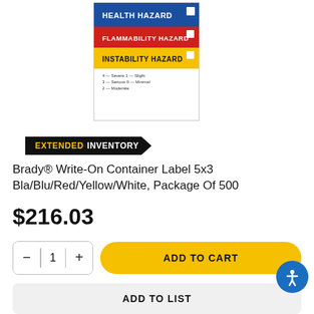[Figure (illustration): Brady hazardous material label showing HEALTH HAZARD (blue), FLAMMABILITY HAZARD (red), INSTABILITY HAZARD (yellow) with white checkbox squares and a legend for severity ratings 0-4.]
EXTENDED INVENTORY
Brady® Write-On Container Label 5x3 Bla/Blu/Red/Yellow/White, Package Of 500
$216.03
[Figure (screenshot): Quantity selector showing minus button, 1, plus button; Add to Cart yellow button; accessibility icon (blue circle with person figure)]
ADD TO LIST